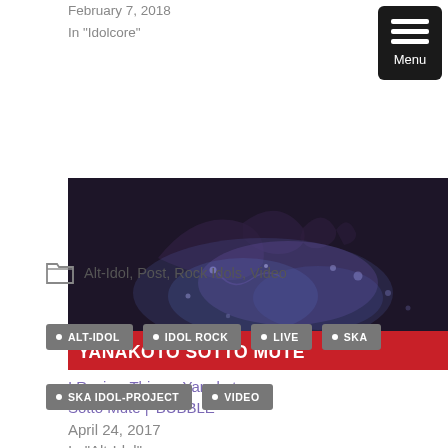February 7, 2018
In "Idolcore"
Says about the Future of Babymetal & Idol Metal
March 18, 2016
In "Babymetal"
[Figure (photo): Dark image of hands with purple/blue smoke or splash, with red banner text 'YANAKOTO SOTTO MUTE' at bottom]
I Review Things: Yanakoto Sotto Mute | 'BUBBLE'
April 24, 2017
In "Alt-Idol"
Alt-Idol, Post, Rock Idols, Video
ALT-IDOL
IDOL ROCK
LIVE
SKA
SKA IDOL-PROJECT
VIDEO